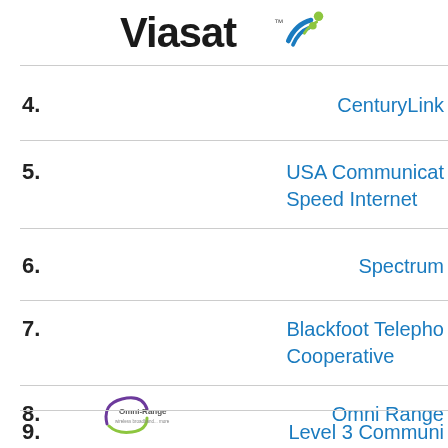[Figure (logo): Viasat logo with blue text and colorful WiFi signal icon]
4. CenturyLink
5. USA Communications Speed Internet
6. Spectrum
7. Blackfoot Telephone Cooperative
8. Omni Range
9. Level 3 Communications